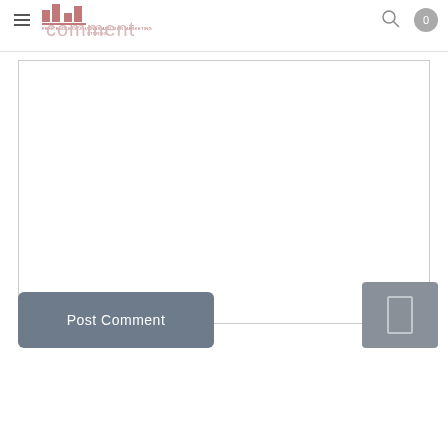comment
[Figure (screenshot): Web page comment form with a large text area input, a 'Post Comment' button on the left, and a square icon button on the right]
Post Comment